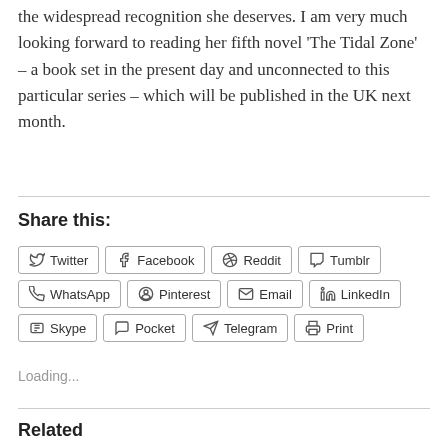the widespread recognition she deserves. I am very much looking forward to reading her fifth novel ‘The Tidal Zone’ – a book set in the present day and unconnected to this particular series – which will be published in the UK next month.
Share this:
Twitter | Facebook | Reddit | Tumblr | WhatsApp | Pinterest | Email | LinkedIn | Skype | Pocket | Telegram | Print
Loading...
Related